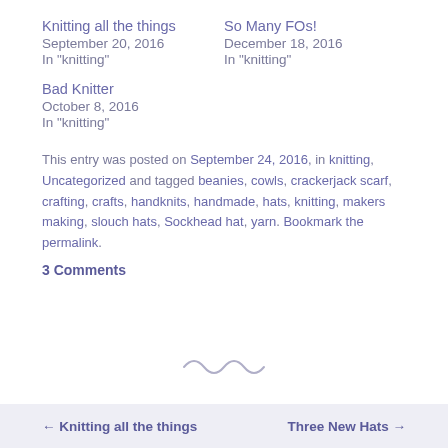Knitting all the things
September 20, 2016
In "knitting"
So Many FOs!
December 18, 2016
In "knitting"
Bad Knitter
October 8, 2016
In "knitting"
This entry was posted on September 24, 2016, in knitting, Uncategorized and tagged beanies, cowls, crackerjack scarf, crafting, crafts, handknits, handmade, hats, knitting, makers making, slouch hats, Sockhead hat, yarn. Bookmark the permalink.
3 Comments
[Figure (illustration): Decorative squiggle/tilde divider symbol]
← Knitting all the things
Three New Hats →